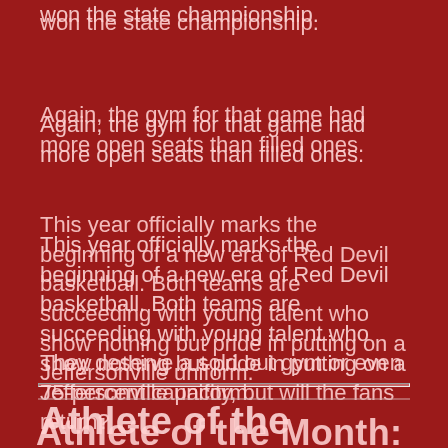won the state championship.
Again, the gym for that game had more open seats than filled ones.
This year officially marks the beginning of a new era of Red Devil basketball. Both teams are succeeding with young talent who show nothing but pride in putting on a Jeffersonville uniform.
They deserve a sold out gym or even 75-percent capacity, but will the fans return?
Athlete of the Month: Octob...